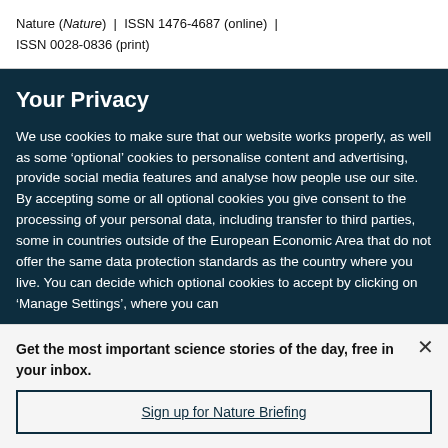Nature (Nature)  |  ISSN 1476-4687 (online)  |  ISSN 0028-0836 (print)
Your Privacy
We use cookies to make sure that our website works properly, as well as some ‘optional’ cookies to personalise content and advertising, provide social media features and analyse how people use our site. By accepting some or all optional cookies you give consent to the processing of your personal data, including transfer to third parties, some in countries outside of the European Economic Area that do not offer the same data protection standards as the country where you live. You can decide which optional cookies to accept by clicking on ‘Manage Settings’, where you can
Get the most important science stories of the day, free in your inbox.
Sign up for Nature Briefing